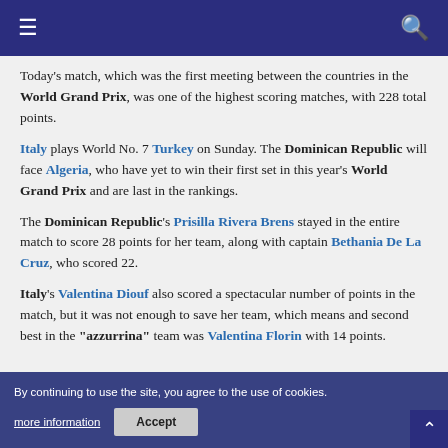Navigation bar with hamburger menu and search icon
Today's match, which was the first meeting between the countries in the World Grand Prix, was one of the highest scoring matches, with 228 total points.
Italy plays World No. 7 Turkey on Sunday. The Dominican Republic will face Algeria, who have yet to win their first set in this year's World Grand Prix and are last in the rankings.
The Dominican Republic's Prisilla Rivera Brens stayed in the entire match to score 28 points for her team, along with captain Bethania De La Cruz, who scored 22.
Italy's Valentina Diouf also scored a spectacular number of points in the match, but it was not enough to save her team, which means and second best in the "azzurrina" team was Valentina Florin with 14 points.
By continuing to use the site, you agree to the use of cookies. more information Accept